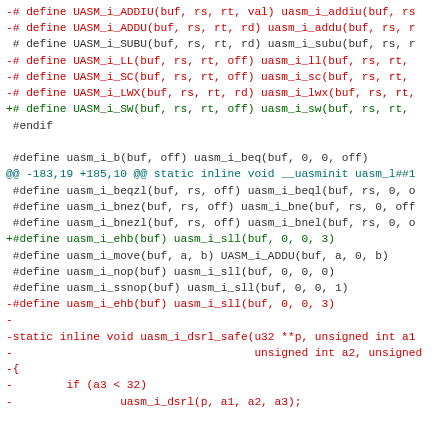[Figure (other): A code diff snippet showing changes to MIPS UASM macro definitions in a C header file. Lines prefixed with '-' are shown in red (removed), lines prefixed with '+' are shown in green (added), and context lines are shown in dark/default color. The diff includes macro definitions for UASM_i_ADDIU, UASM_i_ADDU, UASM_i_SUBU, UASM_i_LL, UASM_i_SC, UASM_i_LWX, UASM_i_SW, and various uasm_i_b*, uasm_i_move, uasm_i_nop, uasm_i_ssnop, uasm_i_ehb macros, and a removed static inline function uasm_i_dsrl_safe.]